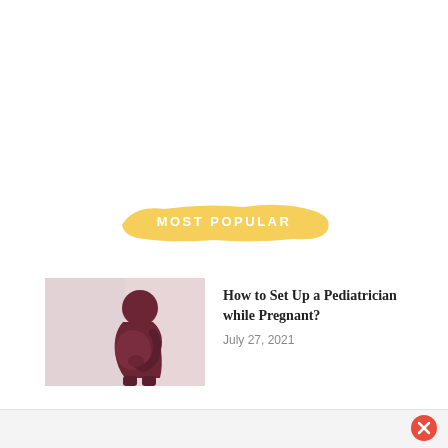[Figure (other): Yellow brush stroke banner with text MOST POPULAR in white uppercase letters]
[Figure (photo): Silhouette of a pregnant woman in dark red/maroon clothing, holding her belly, against a soft light background]
How to Set Up a Pediatrician while Pregnant?
July 27, 2021